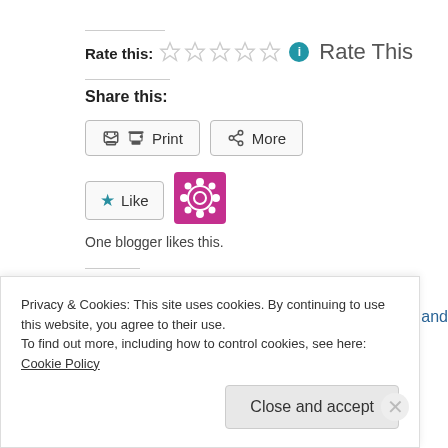Rate this:
Rate This
Share this:
[Figure (other): Print button with printer icon]
[Figure (other): More button with share icon]
[Figure (other): Like button with star icon]
[Figure (other): WordPress icon square]
One blogger likes this.
Related
Shooting straight. lets talk about sex.
Some odds and
Privacy & Cookies: This site uses cookies. By continuing to use this website, you agree to their use.
To find out more, including how to control cookies, see here: Cookie Policy
Close and accept